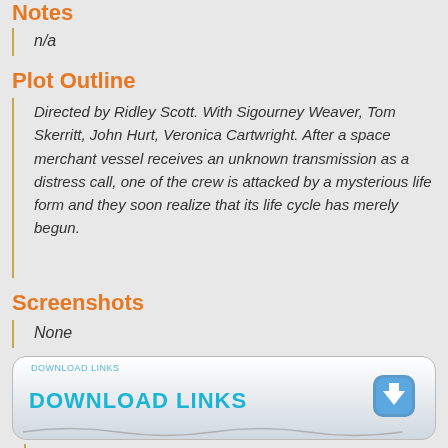Notes
n/a
Plot Outline
Directed by Ridley Scott. With Sigourney Weaver, Tom Skerritt, John Hurt, Veronica Cartwright. After a space merchant vessel receives an unknown transmission as a distress call, one of the crew is attacked by a mysterious life form and they soon realize that its life cycle has merely begun.
Screenshots
None
[Figure (other): Download Links button with blue download icon and decorative wave]
Download Link
[Figure (other): Password button with padlock icon and decorative wave, with number badge 4 and chat bubble icon]